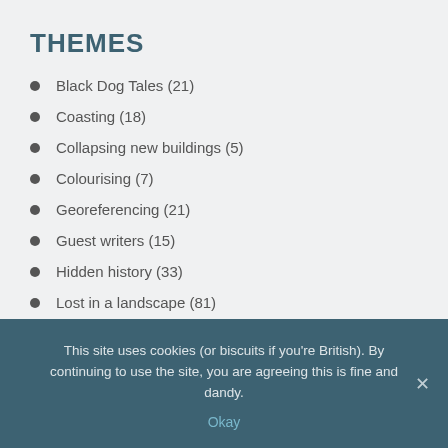THEMES
Black Dog Tales (21)
Coasting (18)
Collapsing new buildings (5)
Colourising (7)
Georeferencing (21)
Guest writers (15)
Hidden history (33)
Lost in a landscape (81)
Music (3)
Mythogeography (5)
Painted saints (1)
Persistence of memory (18)
This site uses cookies (or biscuits if you're British). By continuing to use the site, you are agreeing this is fine and dandy.
Okay